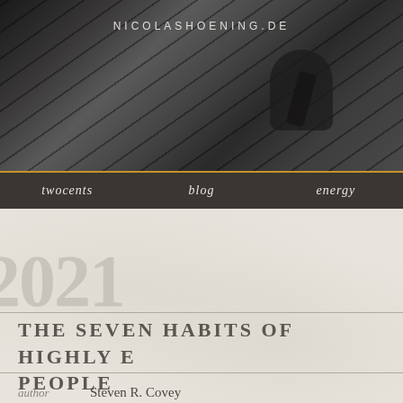NICOLASHOENING.DE
[Figure (photo): Black and white photo of a person on industrial stairs viewed from above]
twocents   blog   energy
2021
The seven habits of highly effective people
author   Steven R. Covey